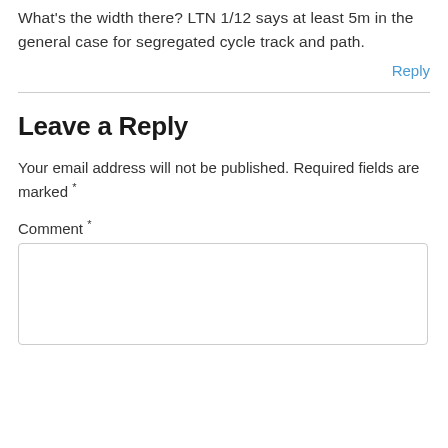What's the width there? LTN 1/12 says at least 5m in the general case for segregated cycle track and path.
Reply
Leave a Reply
Your email address will not be published. Required fields are marked *
Comment *